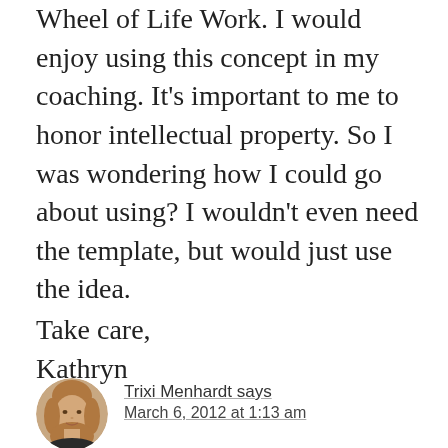Wheel of Life Work. I would enjoy using this concept in my coaching. It's important to me to honor intellectual property. So I was wondering how I could go about using? I wouldn't even need the template, but would just use the idea.
Take care,
Kathryn
[Figure (photo): Circular avatar photo of Trixi Menhardt, a woman with light brown/blonde hair]
Trixi Menhardt says
March 6, 2012 at 1:13 am